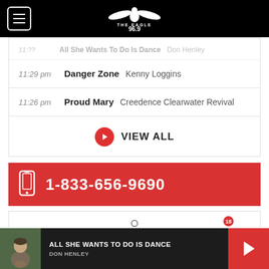The Eagle 96.9
All She Wants To Do Is Dance - Don Henley
11:29 pm  Danger Zone  Kenny Loggins
11:26 pm  Proud Mary  Creedence Clearwater Revival
VIEW ALL
1-833-656-9690
ALL SHE WANTS TO DO IS DANCE  DON HENLEY